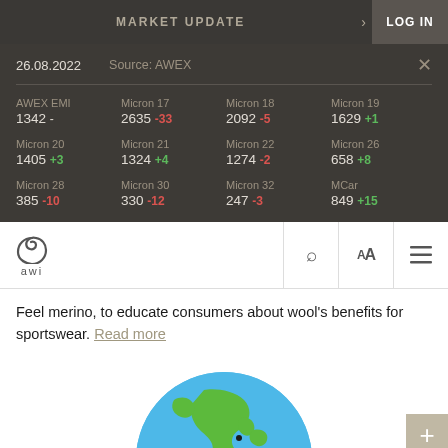MARKET UPDATE   LOG IN
26.08.2022   Source: AWEX
| Category | Value | Change |
| --- | --- | --- |
| AWEX EMI | 1342 | - |
| Micron 17 | 2635 | -33 |
| Micron 18 | 2092 | -5 |
| Micron 19 | 1629 | +1 |
| Micron 20 | 1405 | +3 |
| Micron 21 | 1324 | +4 |
| Micron 22 | 1274 | -2 |
| Micron 26 | 658 | +8 |
| Micron 28 | 385 | -10 |
| Micron 30 | 330 | -12 |
| Micron 32 | 247 | -3 |
| MCar | 849 | +15 |
[Figure (logo): AWI (Australian Wool Innovation) logo with spiral symbol]
Feel merino, to educate consumers about wool's benefits for sportswear. Read more
[Figure (illustration): Globe showing Asia-Pacific region in green and blue]